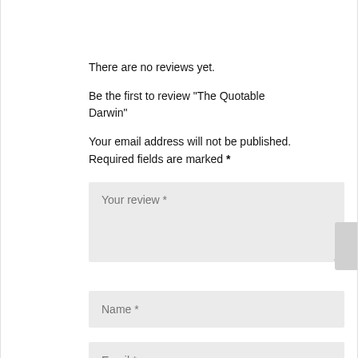There are no reviews yet.
Be the first to review “The Quotable Darwin”
Your email address will not be published. Required fields are marked *
[Figure (screenshot): A web form with three input fields: 'Your review *' (textarea), 'Name *' (text input), 'Email *' (text input), and a CAPTCHA widget at the bottom.]